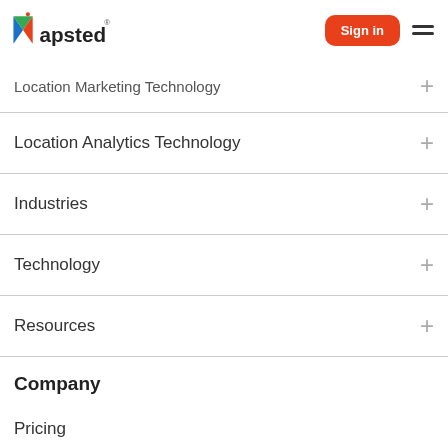Mapsted — Sign in
Location Marketing Technology
Location Analytics Technology
Industries
Technology
Resources
Company
Pricing
About Us
Careers